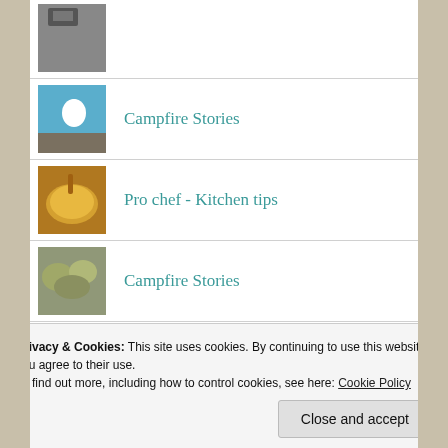(partial thumbnail at top)
Campfire Stories
Pro chef - Kitchen tips
Campfire Stories
Upcycling
You'll like me. I'm odd
Privacy & Cookies: This site uses cookies. By continuing to use this website, you agree to their use.
To find out more, including how to control cookies, see here: Cookie Policy
Close and accept